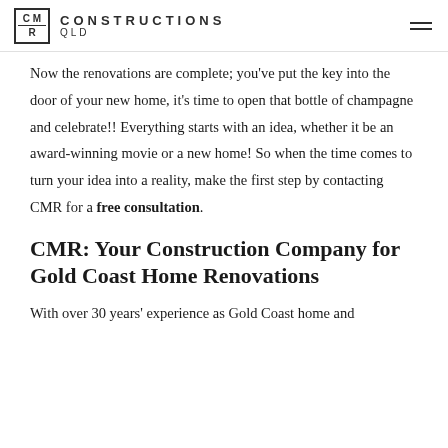CMR CONSTRUCTIONS QLD
Now the renovations are complete; you've put the key into the door of your new home, it's time to open that bottle of champagne and celebrate!! Everything starts with an idea, whether it be an award-winning movie or a new home! So when the time comes to turn your idea into a reality, make the first step by contacting CMR for a free consultation.
CMR: Your Construction Company for Gold Coast Home Renovations
With over 30 years' experience as Gold Coast home and renovation builders, CMR makes your first step to creating a perfect home a reality.